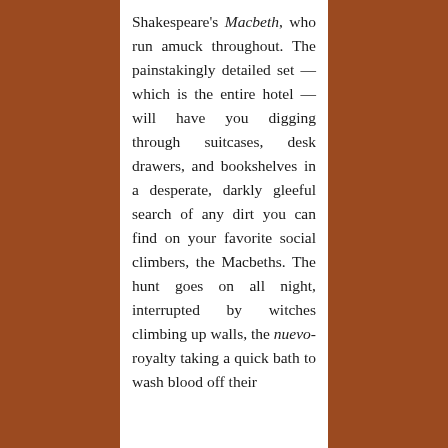Shakespeare's Macbeth, who run amuck throughout. The painstakingly detailed set — which is the entire hotel — will have you digging through suitcases, desk drawers, and bookshelves in a desperate, darkly gleeful search of any dirt you can find on your favorite social climbers, the Macbeths. The hunt goes on all night, interrupted by witches climbing up walls, the nuevo-royalty taking a quick bath to wash blood off their